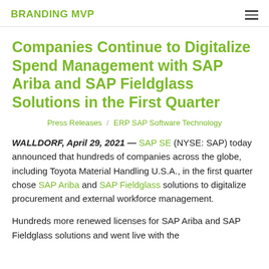BRANDING MVP
Companies Continue to Digitalize Spend Management with SAP Ariba and SAP Fieldglass Solutions in the First Quarter
Press Releases  /  ERP SAP Software Technology
WALLDORF, April 29, 2021 — SAP SE (NYSE: SAP) today announced that hundreds of companies across the globe, including Toyota Material Handling U.S.A., in the first quarter chose SAP Ariba and SAP Fieldglass solutions to digitalize procurement and external workforce management.
Hundreds more renewed licenses for SAP Ariba and SAP Fieldglass solutions and went live with the